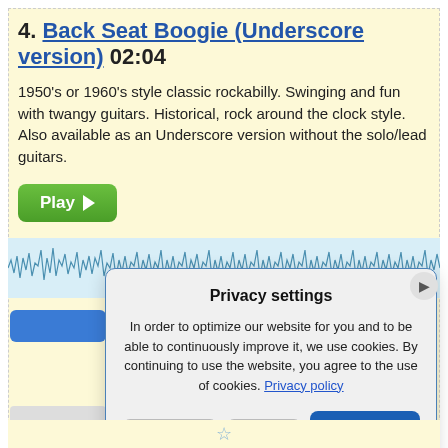4. Back Seat Boogie (Underscore version) 02:04
1950's or 1960's style classic rockabilly. Swinging and fun with twangy guitars. Historical, rock around the clock style. Also available as an Underscore version without the solo/lead guitars.
[Figure (screenshot): Green Play button with triangle arrow]
[Figure (screenshot): Audio waveform visualization]
Privacy settings
In order to optimize our website for you and to be able to continuously improve it, we use cookies. By continuing to use the website, you agree to the use of cookies. Privacy policy
Settings | Save | Accept all